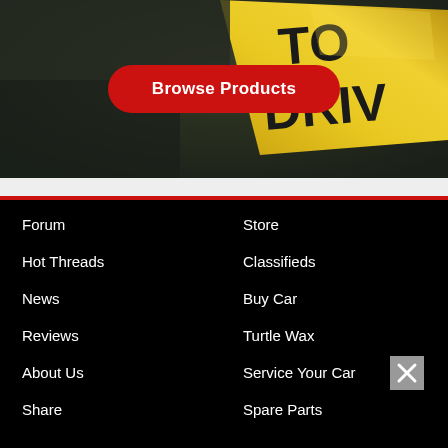[Figure (photo): A yellow 'Learn to Drive' sign photographed at an angle on a dark background, partially visible with letters TO and DRIV readable]
Browse Products
Forum
Hot Threads
News
Reviews
About Us
Share
Store
Classifieds
Buy Car
Turtle Wax
Service Your Car
Spare Parts